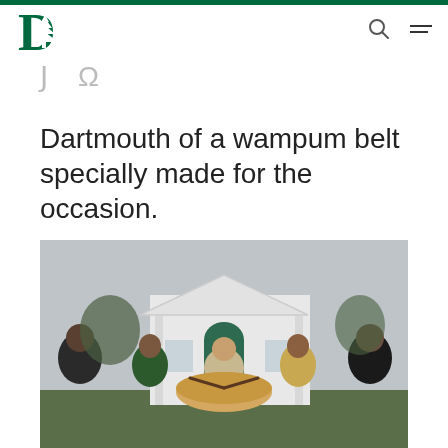Dartmouth College logo, search icon, menu icon
Dartmouth of a wampum belt specially made for the occasion.
[Figure (photo): Group of people sitting in a circle outdoors in front of a white classical-style building with a green arched door, drumming together around a large ceremonial drum.]